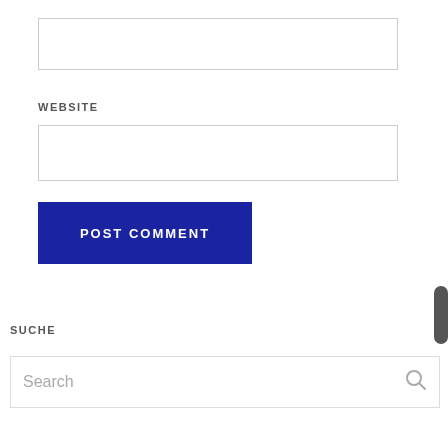[Figure (screenshot): Empty text input field with light gray border]
WEBSITE
[Figure (screenshot): Empty text input field with light gray border for website URL]
POST COMMENT
SUCHE
[Figure (screenshot): Search input field with placeholder text 'Search' and a search icon]